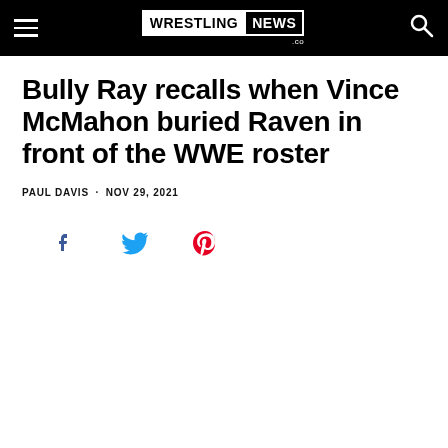WRESTLING NEWS .co
Bully Ray recalls when Vince McMahon buried Raven in front of the WWE roster
PAUL DAVIS · NOV 29, 2021
[Figure (other): Social media share icons: Facebook (blue), Twitter (blue bird), Pinterest (red P)]